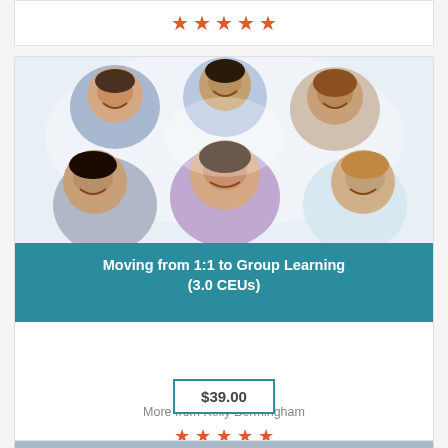[Figure (other): Star rating row (partial card at top)]
[Figure (photo): Group of smiling children looking down at camera in a circle huddle]
Moving from 1:1 to Group Learning (3.0 CEUs)
$39.00
More from Kelly Bermingham
[Figure (other): Five orange star rating icons]
[Figure (photo): Partial photo at bottom of page (another course card beginning)]